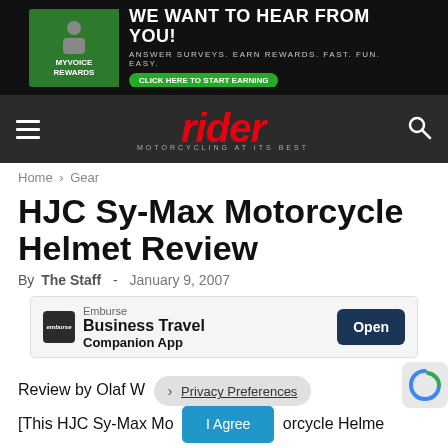[Figure (screenshot): Advertisement banner: MyVoice Rewards - We Want To Hear From You! Answer Surveys. Earn Rewards. Fast. Fun. Easy. Click here to start earning.]
rider — MOTORCYCLING AT ITS BEST
Home › Gear
HJC Sy-Max Motorcycle Helmet Review
By The Staff - January 9, 2007
[Figure (screenshot): Emburse Business Travel Companion App advertisement popup with Open button]
Review by Olaf W... [Privacy Preferences overlay]
[This HJC Sy-Max Modular Motorcycle Helmet Review was originally published in the January...] [I Agree button]